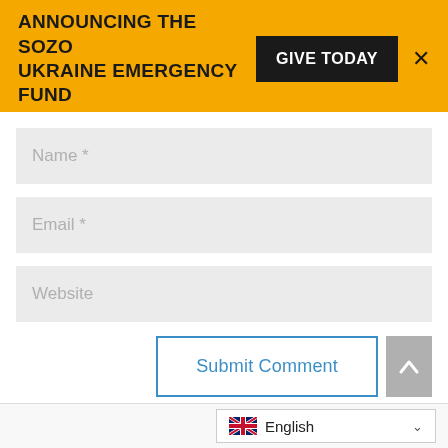ANNOUNCING THE SOZO UKRAINE EMERGENCY FUND
GIVE TODAY
X
Name *
Email *
Website
Submit Comment
[Figure (other): Scroll to top button with upward chevron arrow on grey background]
English
[Figure (other): UK flag icon for language selector]